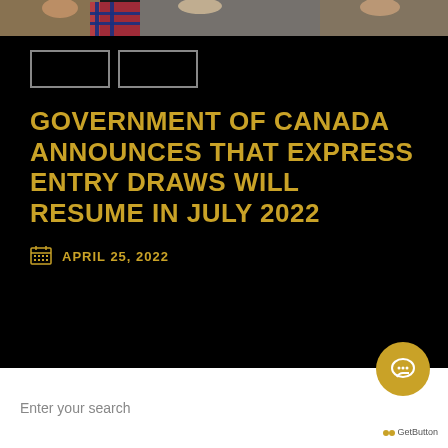[Figure (photo): Photo strip at top showing people, partially cropped]
[Figure (other): Two navigation button placeholders (empty rectangles)]
GOVERNMENT OF CANADA ANNOUNCES THAT EXPRESS ENTRY DRAWS WILL RESUME IN JULY 2022
APRIL 25, 2022
Enter your search